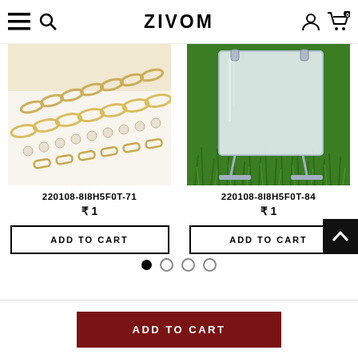ZIVOM
[Figure (photo): Gold chain necklaces on white background]
220108-8I8H5F0T-71
₹ 1
ADD TO CART
[Figure (photo): Clear acrylic display stand on green grass background]
220108-8I8H5F0T-84
₹ 1
ADD TO CART
ADD TO CART